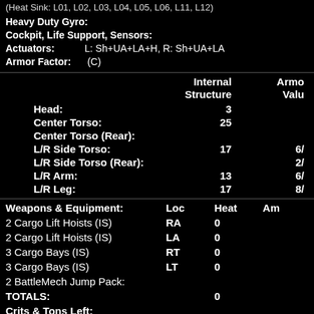(Heat Sink: L01, L02, L03, L04, L05, L06, L11, L12)
Heavy Duty Gyro:
Cockpit, Life Support, Sensors:
Actuators: L: Sh+UA+LA+H, R: Sh+UA+LA
Armor Factor: (C)
|  | Internal Structure | Armor Value |
| --- | --- | --- |
| Head: | 3 |  |
| Center Torso: | 25 |  |
| Center Torso (Rear): |  |  |
| L/R Side Torso: | 17 | 6/ |
| L/R Side Torso (Rear): |  | 2/ |
| L/R Arm: | 13 | 6/ |
| L/R Leg: | 17 | 8/ |
| Weapons & Equipment: | Loc | Heat | Am |
| --- | --- | --- | --- |
| 2 Cargo Lift Hoists (IS) | RA | 0 |  |
| 2 Cargo Lift Hoists (IS) | LA | 0 |  |
| 3 Cargo Bays (IS) | RT | 0 |  |
| 3 Cargo Bays (IS) | LT | 0 |  |
| 2 BattleMech Jump Pack: |  |  |  |
| TOTALS: |  | 0 |  |
| Crits & Tons Left: |  |  |  |